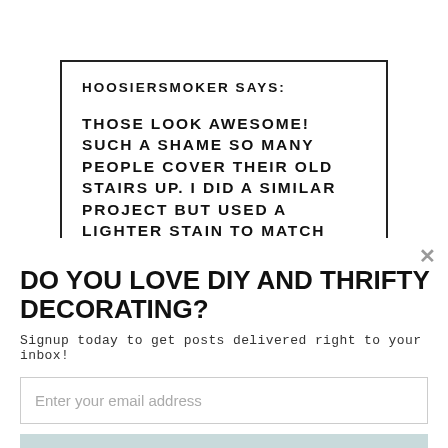HOOSIERSMOKER SAYS:
THOSE LOOK AWESOME! SUCH A SHAME SO MANY PEOPLE COVER THEIR OLD STAIRS UP. I DID A SIMILAR PROJECT BUT USED A LIGHTER STAIN TO MATCH THE REST OF THE HOUSE. I LIKE THE CONTRAST YOU ACHIEVED THOUGH. LUCKILY I WAS ABLE TO PULL THE STAIR TREADS AND FLIP [SUMO] TO GET A NEARLY
DO YOU LOVE DIY AND THRIFTY DECORATING?
Signup today to get posts delivered right to your inbox!
Enter your email address
Subscribe Now